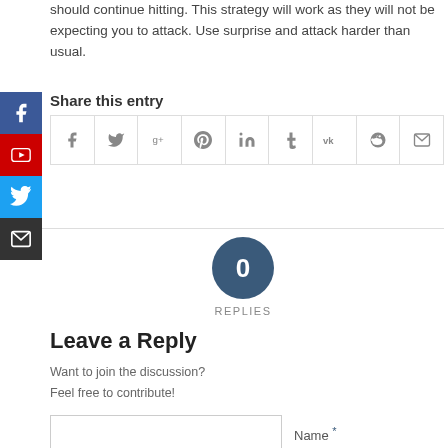should continue hitting. This strategy will work as they will not be expecting you to attack. Use surprise and attack harder than usual.
Share this entry
[Figure (infographic): Social share icons row: Facebook, Twitter, Google+, Pinterest, LinkedIn, Tumblr, VK, Reddit, Email]
0
REPLIES
Leave a Reply
Want to join the discussion?
Feel free to contribute!
Name *